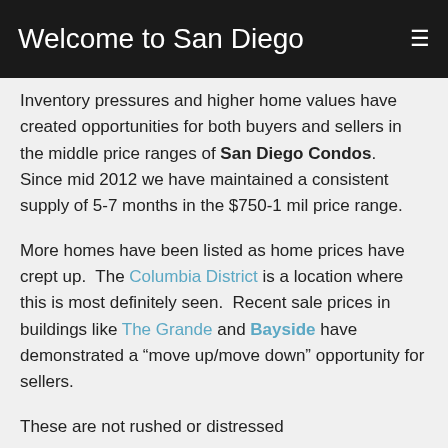Welcome to San Diego
Inventory pressures and higher home values have created opportunities for both buyers and sellers in the middle price ranges of San Diego Condos.  Since mid 2012 we have maintained a consistent supply of 5-7 months in the $750-1 mil price range.
More homes have been listed as home prices have crept up.  The Columbia District is a location where this is most definitely seen.  Recent sale prices in buildings like The Grande and Bayside have demonstrated a “move up/move down” opportunity for sellers.
These are not rushed or distressed